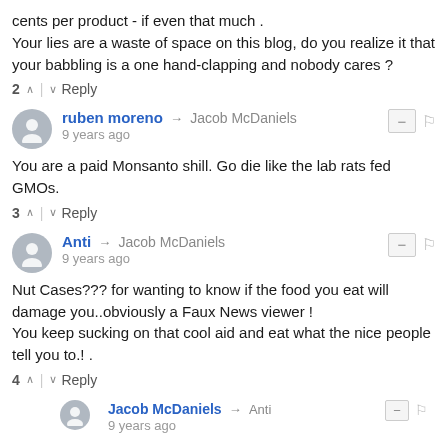cents per product - if even that much . Your lies are a waste of space on this blog, do you realize it that your babbling is a one hand-clapping and nobody cares ?
2 ∧ | ∨ Reply
ruben moreno → Jacob McDaniels
9 years ago
You are a paid Monsanto shill. Go die like the lab rats fed GMOs.
3 ∧ | ∨ Reply
Anti → Jacob McDaniels
9 years ago
Nut Cases??? for wanting to know if the food you eat will damage you..obviously a Faux News viewer ! You keep sucking on that cool aid and eat what the nice people tell you to.! .
4 ∧ | ∨ Reply
Jacob McDaniels → Anti
9 years ago